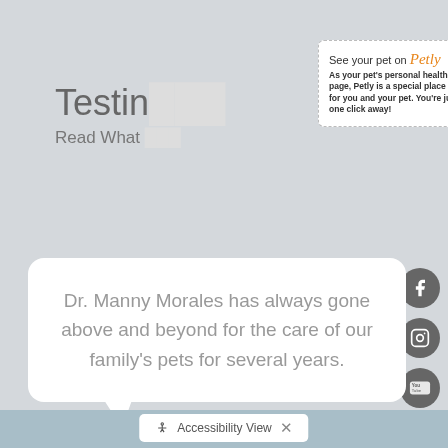Testin...
Read What...
[Figure (screenshot): Petly popup advertisement with 'See your pet on Petly' text and 'GO TO PETLY' green button]
Dr. Manny Morales has always gone above and beyond for the care of our family's pets for several years.
Lina Rojas - Miami Lakes, FL
Accessibility View  X